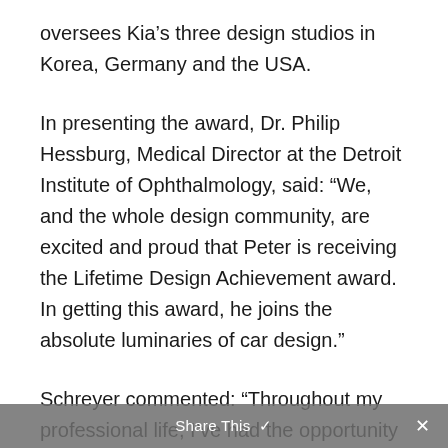oversees Kia's three design studios in Korea, Germany and the USA.
In presenting the award, Dr. Philip Hessburg, Medical Director at the Detroit Institute of Ophthalmology, said: “We, and the whole design community, are excited and proud that Peter is receiving the Lifetime Design Achievement award.  In getting this award, he joins the absolute luminaries of car design.”
Schreyer commented: “Throughout my professional life, I've had the opportunity to work with a number of incredibly passionate
Share This